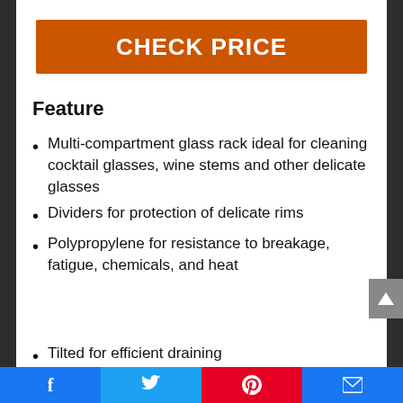[Figure (other): Orange CHECK PRICE button/banner]
Feature
Multi-compartment glass rack ideal for cleaning cocktail glasses, wine stems and other delicate glasses
Dividers for protection of delicate rims
Polypropylene for resistance to breakage, fatigue, chemicals, and heat
Tilted for efficient draining